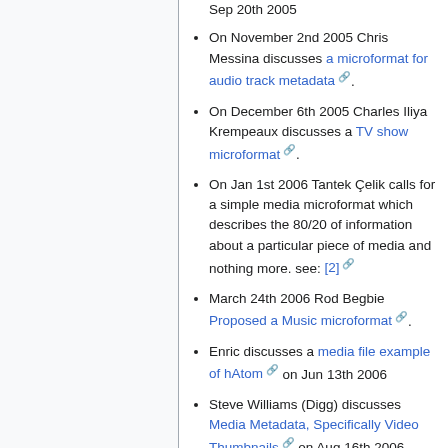Sep 20th 2005
On November 2nd 2005 Chris Messina discusses a microformat for audio track metadata.
On December 6th 2005 Charles Iliya Krempeaux discusses a TV show microformat.
On Jan 1st 2006 Tantek Çelik calls for a simple media microformat which describes the 80/20 of information about a particular piece of media and nothing more. see: [2]
March 24th 2006 Rod Begbie Proposed a Music microformat.
Enric discusses a media file example of hAtom on Jun 13th 2006
Steve Williams (Digg) discusses Media Metadata, Specifically Video Thumbnails on Aug 16th 2006